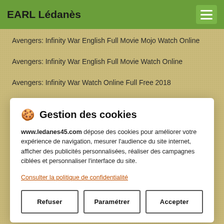EARL Lédanès
Avengers: Infinity War English Full Movie Mojo Watch Online
Avengers: Infinity War English Full Movie Watch Online
Avengers: Infinity War Watch Online Full Free 2018
Avengers: Infinity War English Full Movie Download
🍪 Gestion des cookies
www.ledanes45.com dépose des cookies pour améliorer votre expérience de navigation, mesurer l'audience du site internet, afficher des publicités personnalisées, réaliser des campagnes ciblées et personnaliser l'interface du site.
Consulter la politique de confidentialité
Refuser   Paramétrer   Accepter
Avengers: Infinity War English Full Movie Watch Online